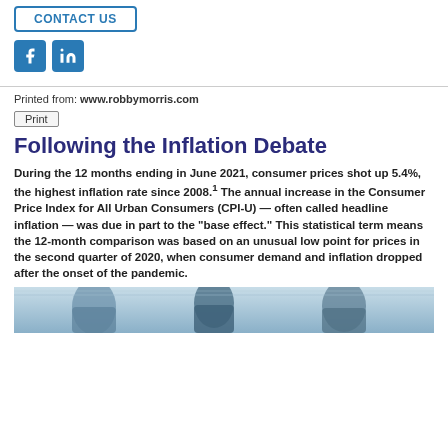CONTACT US
[Figure (logo): Facebook and LinkedIn social media icons in blue]
Printed from: www.robbymorris.com
Print
Following the Inflation Debate
During the 12 months ending in June 2021, consumer prices shot up 5.4%, the highest inflation rate since 2008.¹ The annual increase in the Consumer Price Index for All Urban Consumers (CPI-U) — often called headline inflation — was due in part to the "base effect." This statistical term means the 12-month comparison was based on an unusual low point for prices in the second quarter of 2020, when consumer demand and inflation dropped after the onset of the pandemic.
[Figure (photo): Partial photo of people, appears to be in a store or shopping environment]